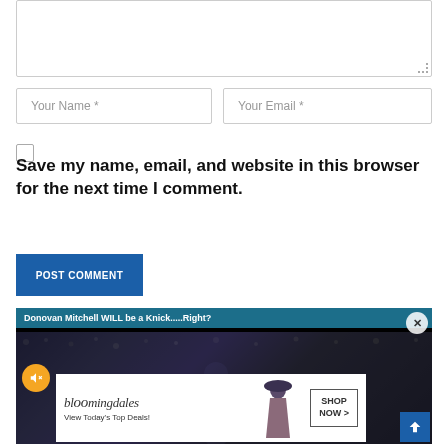[Figure (screenshot): Text area input box with resize handle]
Your Name *
Your Email *
Save my name, email, and website in this browser for the next time I comment.
POST COMMENT
[Figure (screenshot): Ad widget: Donovan Mitchell WILL be a Knick....Right? with basketball background photo, mute button, Bloomingdales advertisement overlay with SHOP NOW button, and scroll-up button]